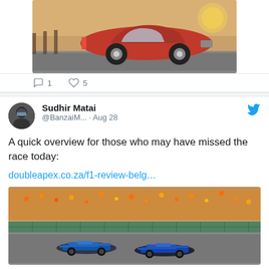[Figure (photo): Red classic sports car photographed from the side on a road at sunset]
1  5
[Figure (other): Twitter post by Sudhir Matai (@BanzaiM...) dated Aug 28. Text: 'A quick overview for those who may have missed the race today:' with link doubleapex.co.za/f1-review-belg... and F1 race photo]
Sudhir Matai
@BanzaiM... · Aug 28
A quick overview for those who may have missed the race today:
doubleapex.co.za/f1-review-belg...
[Figure (photo): F1 racing cars on track with large crowd in the background]